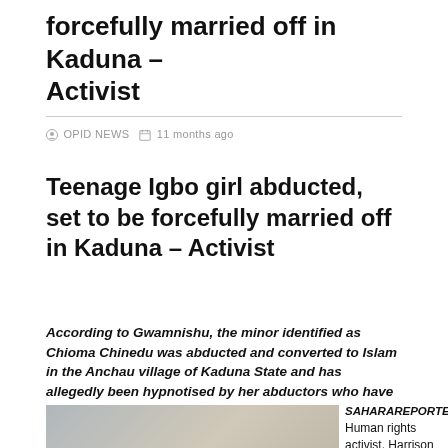forcefully married off in Kaduna – Activist
OPID NEWS  11 months ago
Teenage Igbo girl abducted, set to be forcefully married off in Kaduna – Activist
According to Gwamnishu, the minor identified as Chioma Chinedu was abducted and converted to Islam in the Anchau village of Kaduna State and has allegedly been hypnotised by her abductors who have refused to let her go.
[Figure (photo): Photo of a person, partially visible at bottom of page]
SAHARAREPORTERS
Human rights activist, Harrison Gwamnishu,